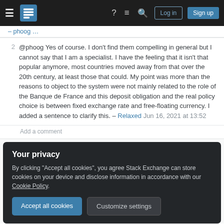Stack Exchange navigation bar with Log in and Sign up buttons
@phoog Yes of course. I don't find them compelling in general but I cannot say that I am a specialist. I have the feeling that it isn't that popular anymore, most countries moved away from that over the 20th century, at least those that could. My point was more than the reasons to object to the system were not mainly related to the role of the Banque de France and this deposit obligation and the real policy choice is between fixed exchange rate and free-floating currency. I added a sentence to clarify this. – Relaxed Jun 16, 2021 at 13:52
Add a comment
Your privacy
By clicking “Accept all cookies”, you agree Stack Exchange can store cookies on your device and disclose information in accordance with our Cookie Policy.
Accept all cookies
Customize settings
Featured on Meta